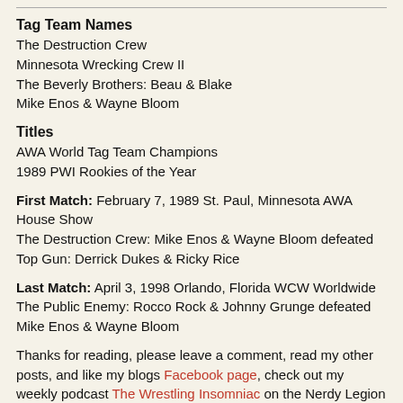Tag Team Names
The Destruction Crew
Minnesota Wrecking Crew II
The Beverly Brothers: Beau & Blake
Mike Enos & Wayne Bloom
Titles
AWA World Tag Team Champions
1989 PWI Rookies of the Year
First Match: February 7, 1989 St. Paul, Minnesota AWA House Show
The Destruction Crew: Mike Enos & Wayne Bloom defeated Top Gun: Derrick Dukes & Ricky Rice
Last Match: April 3, 1998 Orlando, Florida WCW Worldwide
The Public Enemy: Rocco Rock & Johnny Grunge defeated Mike Enos & Wayne Bloom
Thanks for reading, please leave a comment, read my other posts, and like my blogs Facebook page, check out my weekly podcast The Wrestling Insomniac on the Nerdy Legion Podcast